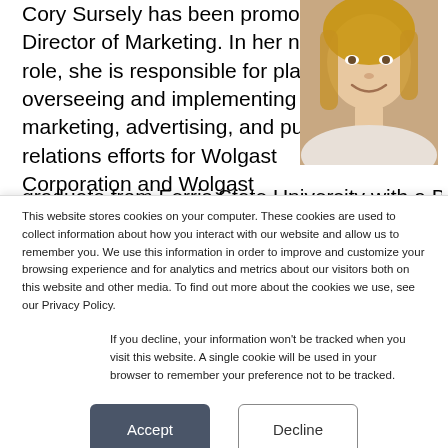Cory Sursely has been promoted to Director of Marketing. In her new role, she is responsible for planning, overseeing and implementing marketing, advertising, and public relations efforts for Wolgast Corporation and Wolgast Restoration as well as providing Sales support.  Sursely is a graduate from Ferris State University with a Bachelor
[Figure (photo): Professional headshot of a woman with blonde hair, smiling, wearing a light-colored top]
This website stores cookies on your computer. These cookies are used to collect information about how you interact with our website and allow us to remember you. We use this information in order to improve and customize your browsing experience and for analytics and metrics about our visitors both on this website and other media. To find out more about the cookies we use, see our Privacy Policy.
If you decline, your information won't be tracked when you visit this website. A single cookie will be used in your browser to remember your preference not to be tracked.